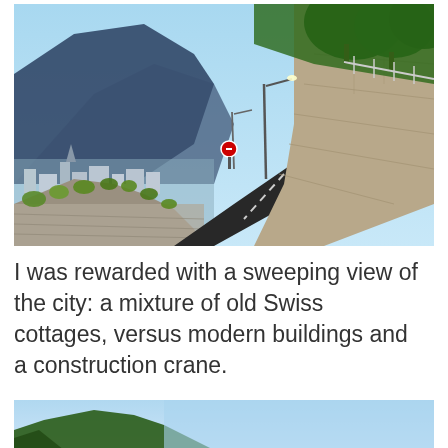[Figure (photo): A winding road with a low stone wall on the left side, green vineyard plants along the wall, tall green trees on the right embankment with a stone retaining wall, a street lamp in the center, mountains visible in the background left, and a panoramic view of a Swiss city below on the left.]
I was rewarded with a sweeping view of the city: a mixture of old Swiss cottages, versus modern buildings and a construction crane.
[Figure (photo): Partial view of a hillside scene with blue sky and green mountain slopes, appearing to be the top portion of another outdoor photograph.]